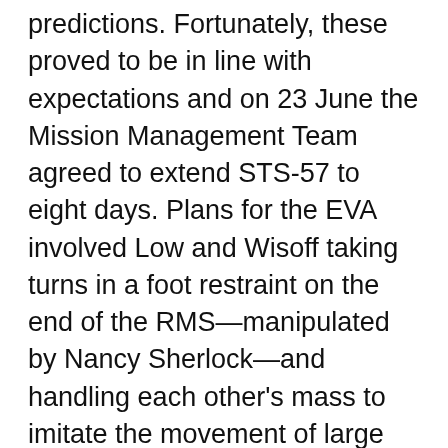predictions. Fortunately, these proved to be in line with expectations and on 23 June the Mission Management Team agreed to extend STS-57 to eight days. Plans for the EVA involved Low and Wisoff taking turns in a foot restraint on the end of the RMS—manipulated by Nancy Sherlock—and handling each other's mass to imitate the movement of large pieces of equipment. Moving large masses on the end of the mechanical arm was expected to be a critical requirement for both Hubble and Space Station Freedom missions. The spacewalkers also trained to investigate techniques for managing their safety tethers. The EVA, which ran to five hours and 50 minutes in total, ran exceptionally smoothly, with Sherlock positioning Low on the RMS to enable him to